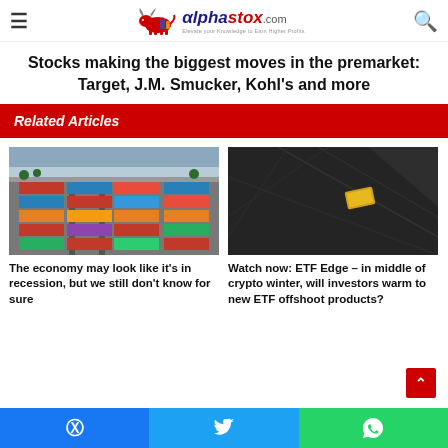alphastox.com
Stocks making the biggest moves in the premarket: Target, J.M. Smucker, Kohl's and more
Related Articles
[Figure (photo): Aerial view of shipping containers and rail yard at a port]
The economy may look like it's in recession, but we still don't know for sure
[Figure (photo): Dark tech themed image with gold geometric accent]
Watch now: ETF Edge – in middle of crypto winter, will investors warm to new ETF offshoot products?
Facebook  Twitter  WhatsApp